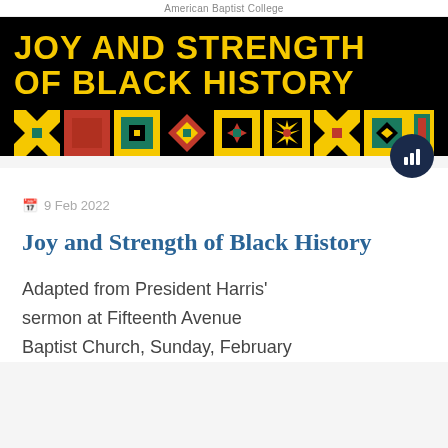American Baptist College
[Figure (illustration): Black background banner with bold yellow text reading 'JOY AND STRENGTH OF BLACK HISTORY' above a row of colorful African quilt-pattern geometric blocks in red, yellow, teal, and green.]
9 Feb 2022
Joy and Strength of Black History
Adapted from President Harris' sermon at Fifteenth Avenue Baptist Church, Sunday, February